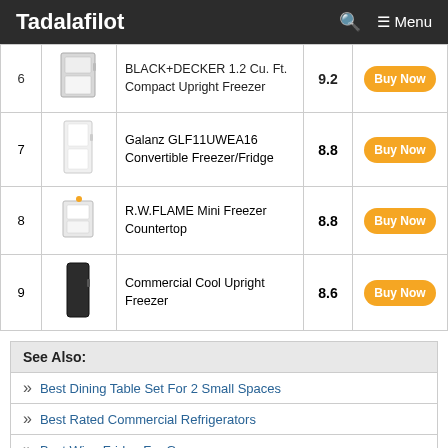Tadalafilot  Menu
| # | Image | Name | Score | Action |
| --- | --- | --- | --- | --- |
| 6 | [image] | BLACK+DECKER 1.2 Cu. Ft. Compact Upright Freezer | 9.2 | Buy Now |
| 7 | [image] | Galanz GLF11UWEA16 Convertible Freezer/Fridge | 8.8 | Buy Now |
| 8 | [image] | R.W.FLAME Mini Freezer Countertop | 8.8 | Buy Now |
| 9 | [image] | Commercial Cool Upright Freezer | 8.6 | Buy Now |
See Also:
Best Dining Table Set For 2 Small Spaces
Best Rated Commercial Refrigerators
Best Wine Fridge For Garage
Table Of Content: